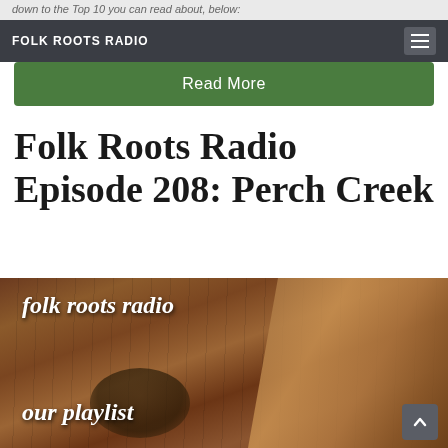down to the Top 10 you can read about, below:
FOLK ROOTS RADIO
Read More
Folk Roots Radio Episode 208: Perch Creek
[Figure (photo): Folk Roots Radio our playlist branded image with cowboy boots on wooden background]